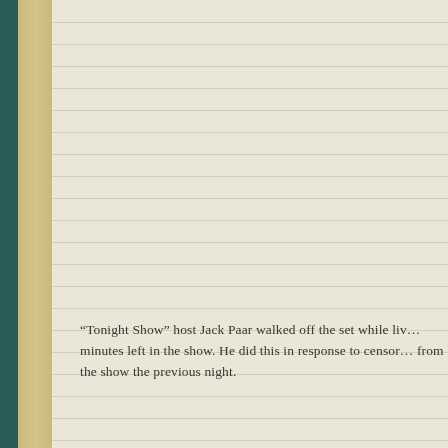“Tonight Show” host Jack Paar walked off the set while live, with minutes left in the show. He did this in response to censorship from the show the previous night.